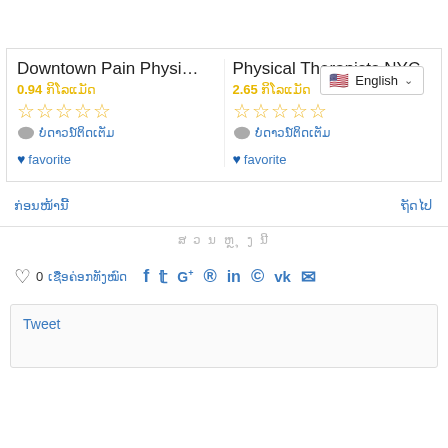[Figure (screenshot): Language selector dropdown showing US flag and 'English' with dropdown arrow]
Downtown Pain Physi...
0.94 ກິໂລແມັດ
☆☆☆☆☆ (empty star rating)
ບໍ່ດາວນ໌ຕິດເຕັມ
favorite
Physical Therapists NYC
2.65 ກິໂລແມັດ
☆☆☆☆☆ (empty star rating)
ບໍ່ດາວນ໌ຕິດເຕັມ
favorite
ກ່ອນໜ້ານີ້
ຖັດໄປ
ສ ວ ນ ຫຼ ຸ ງ ນີ
0 ເຊື່ອຄ່ອກທັງໝົດ
f  t  G+  ®  in  ©  vk  ✉ (social share icons)
Tweet